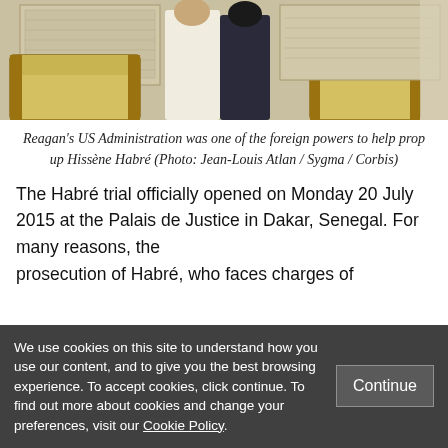[Figure (photo): Photo showing two figures standing in a room with ornate yellow sofas/chairs, one person in white clothing and one in dark clothing]
Reagan's US Administration was one of the foreign powers to help prop up Hissène Habré (Photo: Jean-Louis Atlan / Sygma / Corbis)
The Habré trial officially opened on Monday 20 July 2015 at the Palais de Justice in Dakar, Senegal. For many reasons, the prosecution of Habré, who faces charges of
We use cookies on this site to understand how you use our content, and to give you the best browsing experience. To accept cookies, click continue. To find out more about cookies and change your preferences, visit our Cookie Policy.